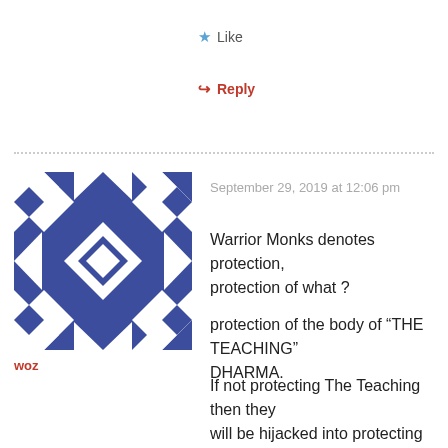Like
Reply
September 29, 2019 at 12:06 pm
[Figure (illustration): Blue and white geometric/quilt pattern avatar icon for user 'woz']
woz
Warrior Monks denotes protection, protection of what ?
protection of the body of “THE TEACHING” DHARMA.
If not protecting The Teaching then they will be hijacked into protecting the body of ignorance or ADHARMA. which could be analagised by an emperor who is only interested in his own power so would like